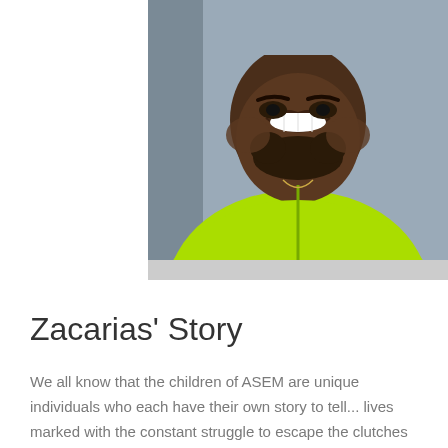[Figure (photo): A smiling young man with a beard wearing a bright neon yellow/green zip-up hoodie, photographed from the chest up against a grey background. Only the lower part of his face and upper body are visible — the top of the image is cropped.]
Zacarias' Story
We all know that the children of ASEM are unique individuals who each have their own story to tell... lives marked with the constant struggle to escape the clutches of material poverty through perseverance and determination. One such story is embodied in the life of Zacarias, now a young man working in